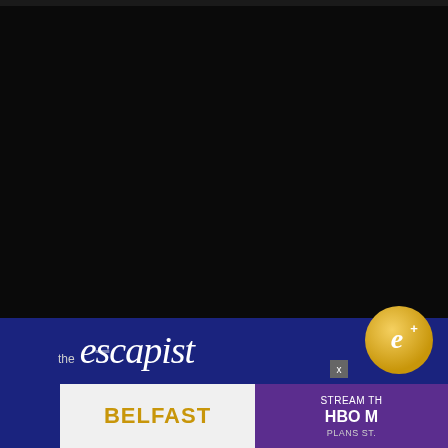[Figure (screenshot): Dark video player area with black background, thin top bar]
[Figure (logo): The Escapist logo in white italic script on dark navy blue background]
[Figure (logo): Gold circular e+ badge in top right of navy section]
[Figure (screenshot): Advertisement banner showing BELFAST in gold text on grey background (left) and STREAM TH... HBO M... PLANS ST... text on purple background (right)]